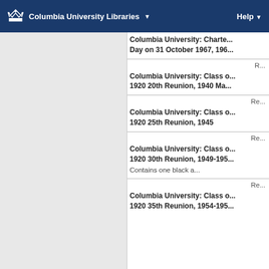Columbia University Libraries  Help
Columbia University: Charte... Day on 31 October 1967, 196...
R...
Columbia University: Class o... 1920 20th Reunion, 1940 Ma...
Re...
Columbia University: Class o... 1920 25th Reunion, 1945
Re...
Columbia University: Class o... 1920 30th Reunion, 1949-195...
Contains one black a...
Re...
Columbia University: Class o... 1920 35th Reunion, 1954-195...